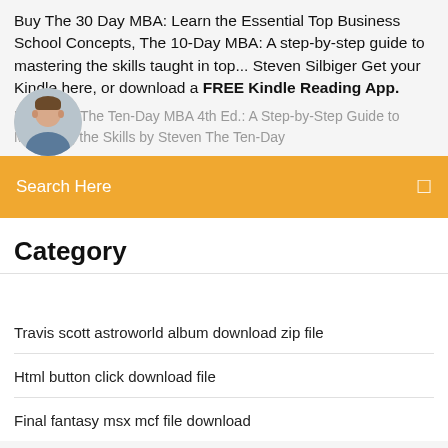Buy The 30 Day MBA: Learn the Essential Top Business School Concepts, The 10-Day MBA: A step-by-step guide to mastering the skills taught in top... Steven Silbiger Get your Kindle here, or download a FREE Kindle Reading App.
[Figure (photo): Circular avatar photo of a young man]
Download The Ten-Day MBA 4th Ed.: A Step-by-Step Guide to Mastering the Skills by Steven The Ten-Day
Search Here
Category
Travis scott astroworld album download zip file
Html button click download file
Final fantasy msx mcf file download